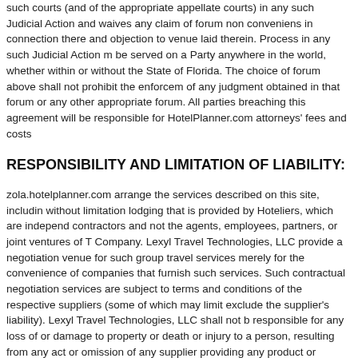such courts (and of the appropriate appellate courts) in any such Judicial Action and waives any claim of forum non conveniens in connection there and objection to venue laid therein. Process in any such Judicial Action m be served on a Party anywhere in the world, whether within or without the State of Florida. The choice of forum above shall not prohibit the enforcem of any judgment obtained in that forum or any other appropriate forum. All parties breaching this agreement will be responsible for HotelPlanner.com attorneys' fees and costs
RESPONSIBILITY AND LIMITATION OF LIABILITY:
zola.hotelplanner.com arrange the services described on this site, includin without limitation lodging that is provided by Hoteliers, which are independ contractors and not the agents, employees, partners, or joint ventures of T Company. Lexyl Travel Technologies, LLC provide a negotiation venue for such group travel services merely for the convenience of companies that furnish such services. Such contractual negotiation services are subject to terms and conditions of the respective suppliers (some of which may limit exclude the supplier's liability). Lexyl Travel Technologies, LLC shall not b responsible for any loss of or damage to property or death or injury to a person, resulting from any act or omission of any supplier providing any product or service or any other person or entity, or caused by strike, war, weather, act of god, quarantine, sickness, government restriction or regulation, or any other cause beyond zola.hotelplanner.com's control. Traveler expressly waives all rights he or she may have against zola.hotelplanner.com in connection with the foregoing. Under no circumstances is zola.hotelplanner.com to be constructed as carriers unde contract for safe carriage of the traveler or his or her baggage and